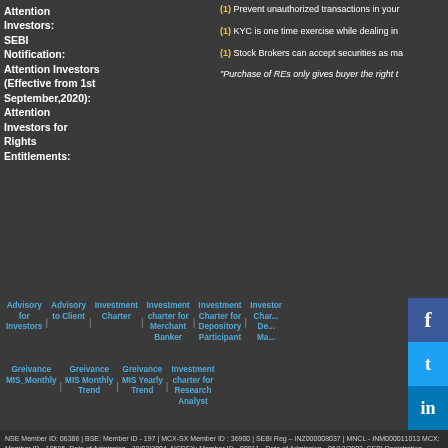Attention Investors:
SEBI Notification:
Attention Investors (Effective from 1st September,2020):
Attention Investors for Rights Entitlements:
(1) Prevent unauthorized transactions in your...
(1) KYC is one time exercise while dealing in...
(1) Stock Brokers can accept securities as ma...
"Purchase of REs only gives buyer the right t...
Advisory for Investors | Advisory to Client | Investment Charter | Investment charter for Merchant Banker | Investment Charter for Depository Participant | Investor Charter for De... Ma...
Greivance MIS_Monthly | Greivance MIS Monthly Trend | Greivance MIS Yearly Trend | Investment charter for Research Analyst
NSE Member ID: 06386 | BSE: Member ID - 197 | MCX-SX Member ID : 36900 | SEBI Reg - INZ000008037 | MNCL - INM000011013 MCX: Member ID - 10585, Date of Admission - 28/02/2004, NCDEX: Member ID - 00011 , Date of Admission - 06/12/2003, SEBI Registration Number : INZ000043833 , AMFI Reg ARN-8812, Research Analyst No. - INH000000644 | PFRDA registration Number – POP 06092018
Name of the Company has changed from Networth Stock Broking Limited to Monarch Networth Capital Limited upon Certification of Incorporation received from Registrar...